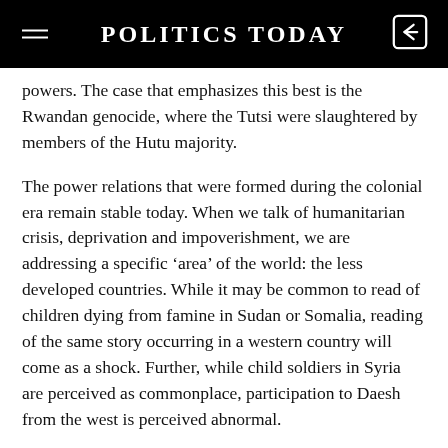POLITICS TODAY
powers. The case that emphasizes this best is the Rwandan genocide, where the Tutsi were slaughtered by members of the Hutu majority.
The power relations that were formed during the colonial era remain stable today. When we talk of humanitarian crisis, deprivation and impoverishment, we are addressing a specific ‘area’ of the world: the less developed countries. While it may be common to read of children dying from famine in Sudan or Somalia, reading of the same story occurring in a western country will come as a shock. Further, while child soldiers in Syria are perceived as commonplace, participation to Daesh from the west is perceived abnormal.
The International assessment of aid